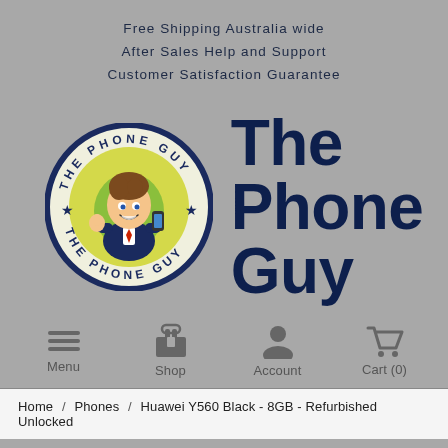Free Shipping Australia wide
After Sales Help and Support
Customer Satisfaction Guarantee
[Figure (logo): The Phone Guy circular logo with cartoon character holding a phone, surrounded by text 'THE PHONE GUY' repeated around the circle with stars, and large bold text 'The Phone Guy' to the right]
Menu
Shop
Account
Cart (0)
Home / Phones / Huawei Y560 Black - 8GB - Refurbished Unlocked